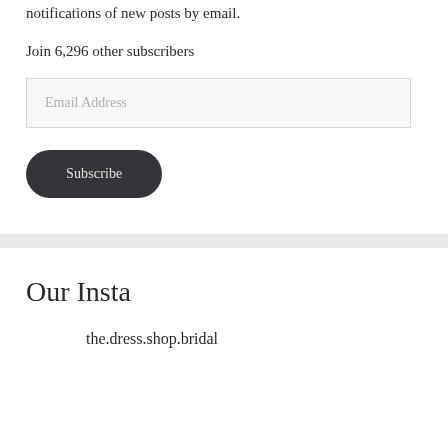notifications of new posts by email.
Join 6,296 other subscribers
Email Address
Subscribe
Our Insta
the.dress.shop.bridal